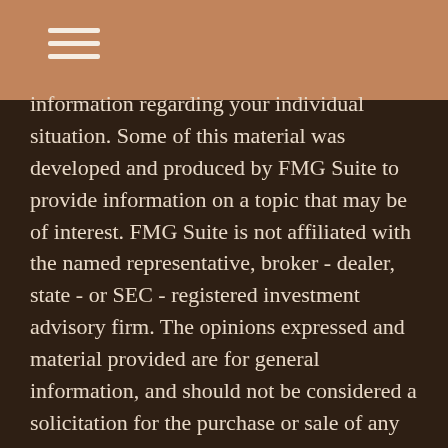[hamburger menu icon]
information regarding your individual situation. Some of this material was developed and produced by FMG Suite to provide information on a topic that may be of interest. FMG Suite is not affiliated with the named representative, broker - dealer, state - or SEC - registered investment advisory firm. The opinions expressed and material provided are for general information, and should not be considered a solicitation for the purchase or sale of any security.
We take protecting your data and privacy very seriously. As of January 1, 2020 the California Consumer Privacy Act (CCPA) suggests the following link as an extra measure to safeguard your data: Do not sell my personal information.